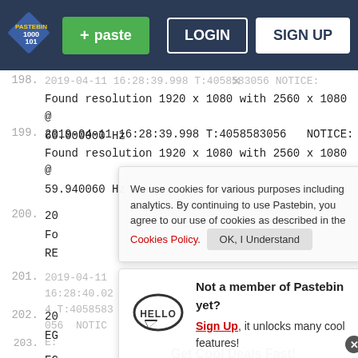[Figure (screenshot): Pastebin website header/navbar with logo, + paste button (green), LOGIN and SIGN UP buttons on dark blue background]
Found resolution 1920 x 1080 with 2560 x 1080 @ 60.000000 Hz
199. 2019-04-11 16:28:39.998 T:4058583056  NOTICE: Found resolution 1920 x 1080 with 2560 x 1080 @ 59.940060 Hz
200. 20 Fo RE
We use cookies for various purposes including analytics. By continuing to use Pastebin, you agree to our use of cookies as described in the Cookies Policy. OK, I Understand
201. 2019-04-11 16:28:40.024 T:4058583056  NOTICE: EG
202. 20 EG Not a member of Pastebin yet? Sign Up, it unlocks many cool features!
[Figure (infographic): Advertisement for Walgreens: Get Cool Deals Fast! BOGO 50% Off Select Sun Care with Walgreens logo and navigation icon]